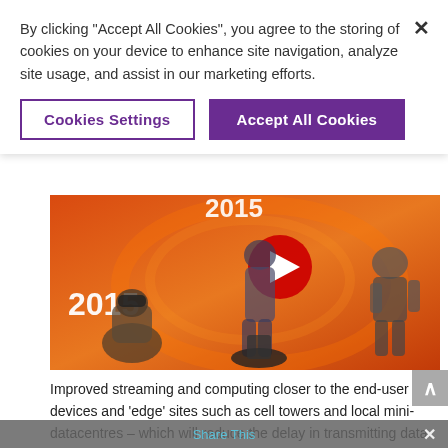By clicking “Accept All Cookies”, you agree to the storing of cookies on your device to enhance site navigation, analyze site usage, and assist in our marketing efforts.
Cookies Settings
Accept All Cookies
[Figure (screenshot): Video thumbnail showing people in futuristic/VR settings with orange-red background, text '2015' visible, with a YouTube play button overlay]
Improved streaming and computing closer to the end-user in devices and 'edge' sites such as cell towers and local mini-datacentres – which will reduce the delay in transmitting data – will later enable advanced 5G and 6G services such as holographic commu... and entertainment
Share This